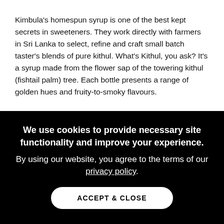Kimbula's homespun syrup is one of the best kept secrets in sweeteners. They work directly with farmers in Sri Lanka to select, refine and craft small batch taster's blends of pure kithul. What's Kithul, you ask? It's a syrup made from the flower sap of the towering kithul (fishtail palm) tree. Each bottle presents a range of golden hues and fruity-to-smoky flavours.
We use cookies to provide necessary site functionality and improve your experience. By using our website, you agree to the terms of our privacy policy.
ACCEPT & CLOSE